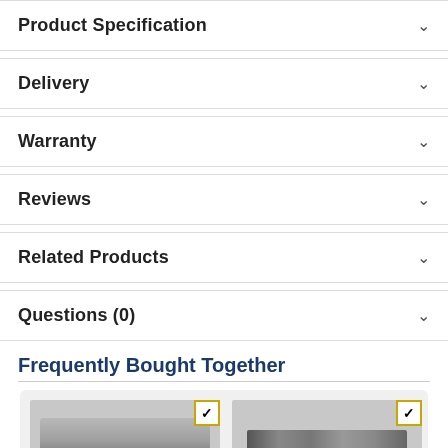Product Specification
Delivery
Warranty
Reviews
Related Products
Questions (0)
Frequently Bought Together
[Figure (photo): Product image 1 - laptop hinge or bracket component (silver/grey metal part)]
[Figure (photo): Product image 2 - circuit board or small electronic component]